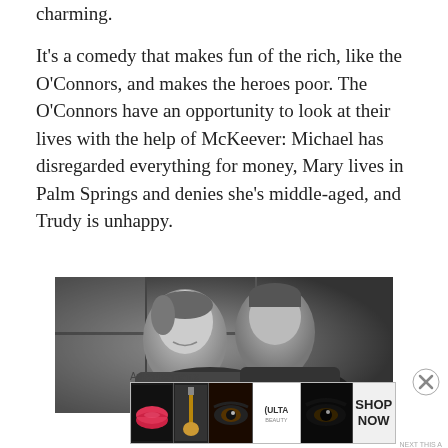charming.
It's a comedy that makes fun of the rich, like the O'Connors, and makes the heroes poor. The O'Connors have an opportunity to look at their lives with the help of McKeever: Michael has disregarded everything for money, Mary lives in Palm Springs and denies she's middle-aged, and Trudy is unhappy.
[Figure (photo): Black and white photograph of a woman and man in close proximity, appearing to be from a classic film or TV show. The woman has short hair and is smiling, the man is behind her looking to the side.]
Advertisements
[Figure (photo): ULTA beauty advertisement banner showing close-up images of lips, makeup brushes, eyes, the ULTA logo, and a 'SHOP NOW' button.]